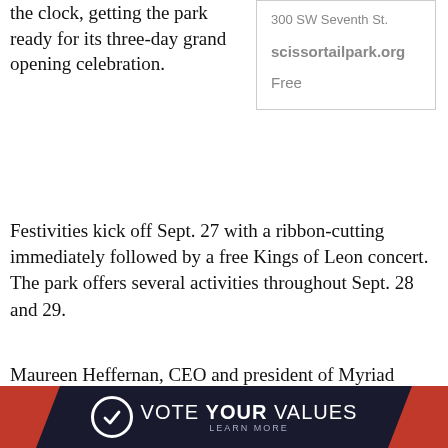the clock, getting the park ready for its three-day grand opening celebration.
300 SW Seventh St.

scissortailpark.org

Free
Festivities kick off Sept. 27 with a ribbon-cutting immediately followed by a free Kings of Leon concert. The park offers several activities throughout Sept. 28 and 29.
Maureen Heffernan, CEO and president of Myriad Gardens Foundation and Scissortail Park Foundation, said the park's grand opening has been 12 years in the making.
“Come to the grand opening. It’s going to be wonderful.
[Figure (infographic): Vote Your Values advertisement banner with navy blue background, red triangular accents on left and right, circular logo with checkmark, text reading VOTE YOUR VALUES LEARN MORE]